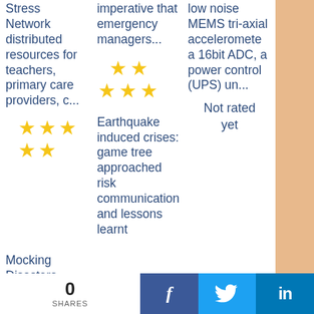Stress Network distributed resources for teachers, primary care providers, c...
[Figure (other): 3 gold stars rating (2 on top row offset, 3 on bottom row)]
Mocking Disasters
imperative that emergency managers...
[Figure (other): 5 gold star rating (2 on top, 3 on bottom)]
Earthquake induced crises: game tree approached risk communication and lessons learnt
low noise MEMS tri-axial accelerometer a 16bit ADC, a power control (UPS) un...
Not rated yet
0 SHARES
[Figure (other): Facebook share button]
[Figure (other): Twitter share button]
[Figure (other): LinkedIn share button]